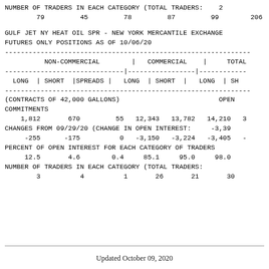NUMBER OF TRADERS IN EACH CATEGORY (TOTAL TRADERS:    2
        79         45         78         87         99        206
GULF JET NY HEAT OIL SPR - NEW YORK MERCANTILE EXCHANGE
FUTURES ONLY POSITIONS AS OF 10/06/20
| NON-COMMERCIAL (LONG, SHORT, SPREADS) | COMMERCIAL (LONG, SHORT) | TOTAL (LONG, SH...) |
| --- | --- | --- |
| (CONTRACTS OF 42,000 GALLONS) |  | OPEN |
| COMMITMENTS |  |  |
| 1,812 | 670 | 55 | 12,343 | 13,782 | 14,210 | ... |
| CHANGES FROM 09/29/20 (CHANGE IN OPEN INTEREST: -3,39 |  |  |
| -255 | -175 | 0 | -3,150 | -3,224 | -3,405 | ... |
| PERCENT OF OPEN INTEREST FOR EACH CATEGORY OF TRADERS |  |  |
| 12.5 | 4.6 | 0.4 | 85.1 | 95.0 | 98.0 |  |
| NUMBER OF TRADERS IN EACH CATEGORY (TOTAL TRADERS: |  |  |
| 3 | 4 | 1 | 26 | 21 | 30 |  |
Updated October 09, 2020